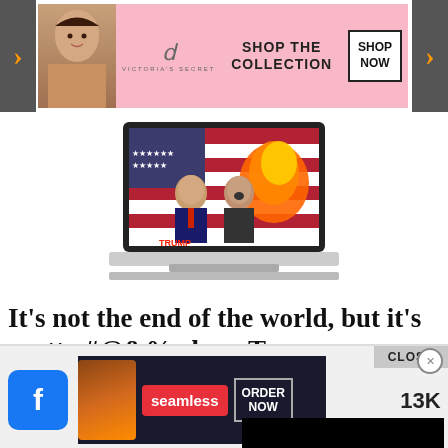[Figure (screenshot): Screenshot of a webpage with a Victoria's Secret banner ad at the top, a laptop image in the center showing two political figures with fire, overlapping text headline partially obscured by a black overlay popup, and a Seamless food delivery ad at the bottom with Facebook share button showing 13K shares.]
It's not the end of the world, but it's pretty #@&% close. Trump, America & Franklin Graham... must be r
Join the resistance: Su... email updates from BLC!
CLOSE
13K SHARES